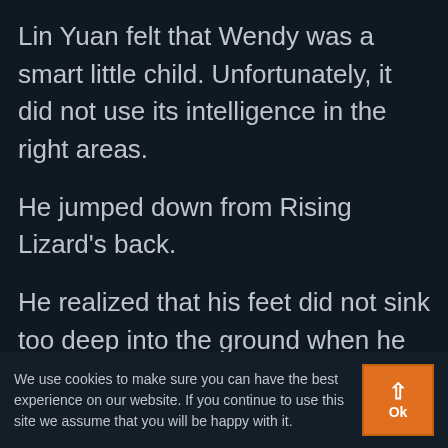Lin Yuan felt that Wendy was a smart little child. Unfortunately, it did not use its intelligence in the right areas.
He jumped down from Rising Lizard's back.
He realized that his feet did not sink too deep into the ground when he landed.
When he saw the large amount of Gold Drought Ground Sweet Flags, he immediately knew why his feet were not sinking.
We use cookies to make sure you can have the best experience on our website. If you continue to use this site we assume that you will be happy with it.